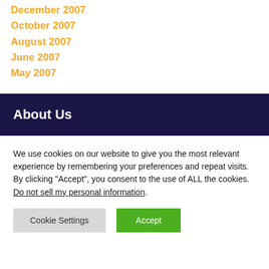December 2007
October 2007
August 2007
June 2007
May 2007
About Us
We use cookies on our website to give you the most relevant experience by remembering your preferences and repeat visits. By clicking “Accept”, you consent to the use of ALL the cookies. Do not sell my personal information.